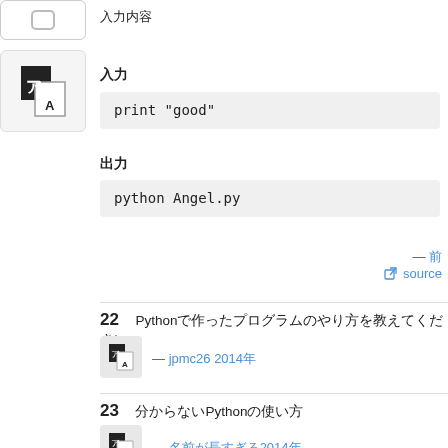[Figure (logo): Small rounded square icon placeholder at top left]
入力内容
[Figure (logo): Translation/dictionary app icon with letter A and Japanese character]
入力
print "good"
出力
python Angel.py
— 前
source
22  Pythonで作ったプログラムのやり方を教えてください
— jpmc26 2014年
23  分からないPythonの使い方
— 名前が長すぎる2014年